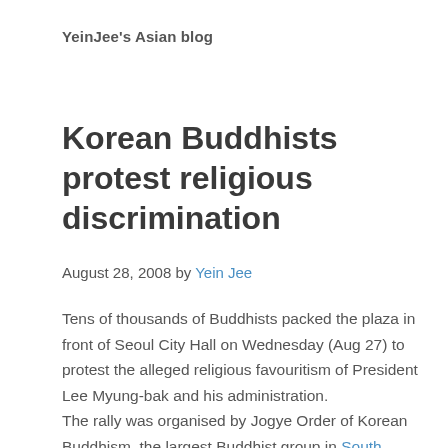YeinJee's Asian blog
Korean Buddhists protest religious discrimination
August 28, 2008 by Yein Jee
Tens of thousands of Buddhists packed the plaza in front of Seoul City Hall on Wednesday (Aug 27) to protest the alleged religious favouritism of President Lee Myung-bak and his administration.
The rally was organised by Jogye Order of Korean Buddhism, the largest Buddhist group in South